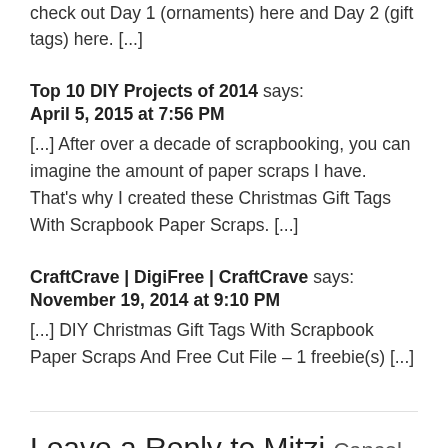check out Day 1 (ornaments) here and Day 2 (gift tags) here. [...]
Top 10 DIY Projects of 2014 says: April 5, 2015 at 7:56 PM [...] After over a decade of scrapbooking, you can imagine the amount of paper scraps I have. That's why I created these Christmas Gift Tags With Scrapbook Paper Scraps. [...]
CraftCrave | DigiFree | CraftCrave says: November 19, 2014 at 9:10 PM [...] DIY Christmas Gift Tags With Scrapbook Paper Scraps And Free Cut File – 1 freebie(s) [...]
Leave a Reply to Mitzi Cancel reply
Your email address will not be published. Required fields are